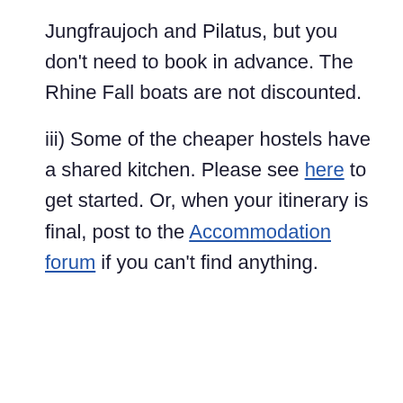Jungfraujoch and Pilatus, but you don't need to book in advance. The Rhine Fall boats are not discounted.
iii) Some of the cheaper hostels have a shared kitchen. Please see here to get started. Or, when your itinerary is final, post to the Accommodation forum if you can't find anything.
very rough estimate is CHF 150 per adult per day for a basic vacation with not much